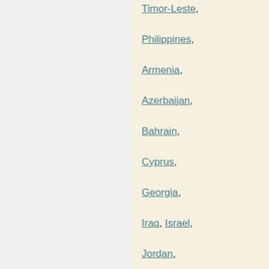Timor-Leste,
Philippines,
Armenia,
Azerbaijan,
Bahrain,
Cyprus,
Georgia,
Iraq, Israel,
Jordan,
Kuwait,
Lebanon,
Oman,
Palestinian Territory,
Qatar, Saudi Arabia,
Syria,
Turkey,
United Arab Emirates,
Yemen,